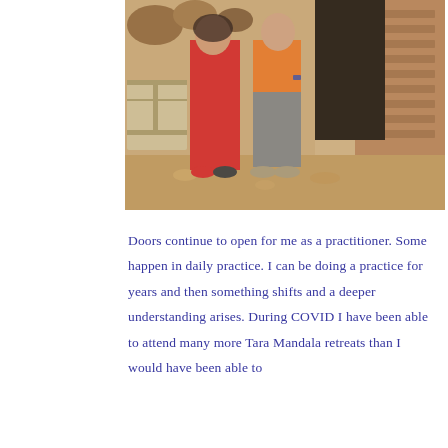[Figure (photo): Two people standing outdoors in a sunny, arid environment with stone/mud brick walls and rocky ground. One person on the left wears a red outfit and the other on the right wears an orange top and grey pants.]
Doors continue to open for me as a practitioner. Some happen in daily practice. I can be doing a practice for years and then something shifts and a deeper understanding arises. During COVID I have been able to attend many more Tara Mandala retreats than I would have been able to otherwise...